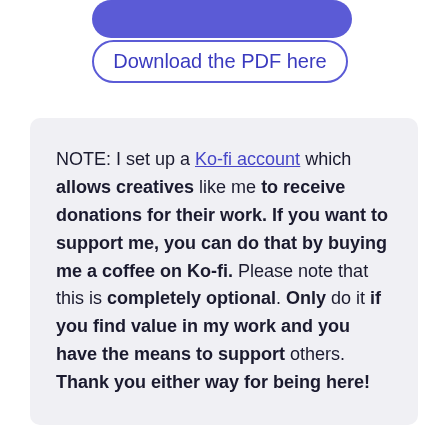[Figure (other): Partially visible blue filled rounded button at top of page]
Download the PDF here
NOTE: I set up a Ko-fi account which allows creatives like me to receive donations for their work. If you want to support me, you can do that by buying me a coffee on Ko-fi. Please note that this is completely optional. Only do it if you find value in my work and you have the means to support others. Thank you either way for being here!